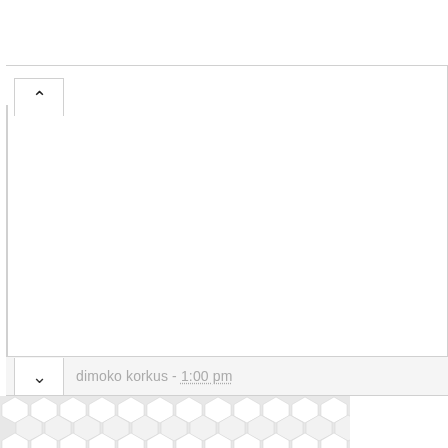[Figure (screenshot): UI panel with up and down chevron navigation buttons on the left side, a large white content area, and a bottom bar showing 'dimoko korkus - 1:00 pm' with dotted underline. Below the panel is a hexagonal/honeycomb decorative pattern in light gray/white.]
dimoko korkus - 1:00 pm